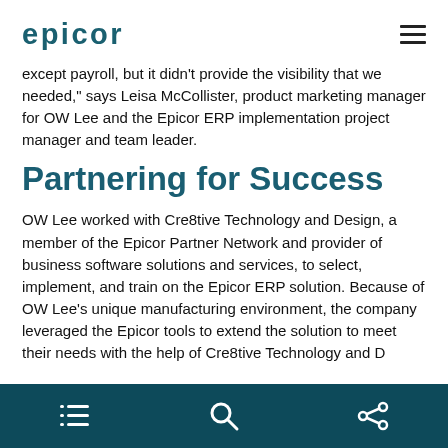epicor
except payroll, but it didn't provide the visibility that we needed," says Leisa McCollister, product marketing manager for OW Lee and the Epicor ERP implementation project manager and team leader.
Partnering for Success
OW Lee worked with Cre8tive Technology and Design, a member of the Epicor Partner Network and provider of business software solutions and services, to select, implement, and train on the Epicor ERP solution. Because of OW Lee's unique manufacturing environment, the company leveraged the Epicor tools to extend the solution to meet their needs with the help of Cre8tive Technology and Design.
navigation icons: list, search, share